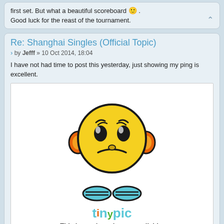first set. But what a beautiful scoreboard 🙂 .
Good luck for the reast of the tournament.
Re: Shanghai Singles (Official Topic)
by Jefff » 10 Oct 2014, 18:04
I have not had time to post this yesterday, just showing my ping is excellent.
[Figure (illustration): Tinypic placeholder image: a sad yellow smiley face character with headphones and blue feet, with 'tinypic' logo text below, followed by text 'This image is no longer available. Visit tinypic.com for more information.']